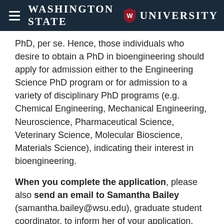Washington State University
PhD, per se. Hence, those individuals who desire to obtain a PhD in bioengineering should apply for admission either to the Engineering Science PhD program or for admission to a variety of disciplinary PhD programs (e.g. Chemical Engineering, Mechanical Engineering, Neuroscience, Pharmaceutical Science, Veterinary Science, Molecular Bioscience, Materials Science), indicating their interest in bioengineering.
When you complete the application, please also send an email to Samantha Bailey (samantha.bailey@wsu.edu), graduate student coordinator, to inform her of your application.